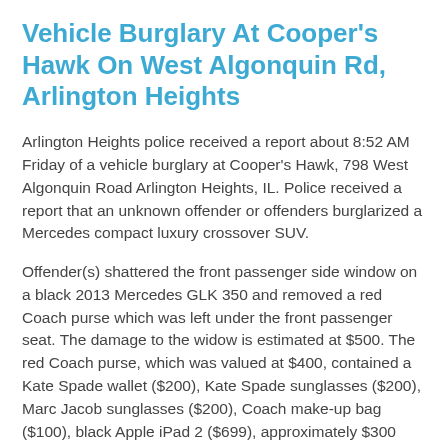Vehicle Burglary At Cooper's Hawk On West Algonquin Rd, Arlington Heights
Arlington Heights police received a report about 8:52 AM Friday of a vehicle burglary at Cooper's Hawk, 798 West Algonquin Road Arlington Heights, IL. Police received a report that an unknown offender or offenders burglarized a Mercedes compact luxury crossover SUV.
Offender(s) shattered the front passenger side window on a black 2013 Mercedes GLK 350 and removed a red Coach purse which was left under the front passenger seat. The damage to the widow is estimated at $500. The red Coach purse, which was valued at $400, contained a Kate Spade wallet ($200), Kate Spade sunglasses ($200), Marc Jacob sunglasses ($200), Coach make-up bag ($100), black Apple iPad 2 ($699), approximately $300 cash, checkbook, I.D., credit/debit cards and keys. A credit card obatain from the vehicle burglary was used at a gas station in Maywood, IL.
The crime is reported to have occurred on Tuesday May 21,